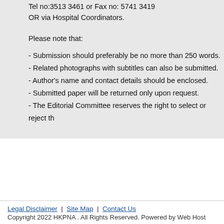Tel no:3513 3461 or Fax no: 5741 3419
OR via Hospital Coordinators.
Please note that:
- Submission should preferably be no more than 250 words.
- Related photographs with subtitles can also be submitted.
- Author's name and contact details should be enclosed.
- Submitted paper will be returned only upon request.
- The Editorial Committee reserves the right to select or reject th
Legal Disclaimer | Site Map | Contact Us
Copyright 2022 HKPNA . All Rights Reserved. Powered by Web Host